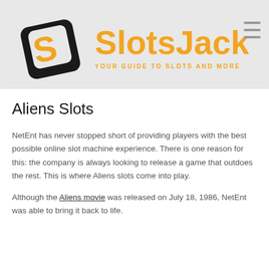[Figure (logo): SlotsJack logo with stylized golden S letter mark and black card suit symbol, orange text reading SlotsJack with tagline YOUR GUIDE TO SLOTS AND MORE]
Aliens Slots
NetEnt has never stopped short of providing players with the best possible online slot machine experience. There is one reason for this: the company is always looking to release a game that outdoes the rest. This is where Aliens slots come into play.
Although the Aliens movie was released on July 18, 1986, NetEnt was able to bring it back to life.